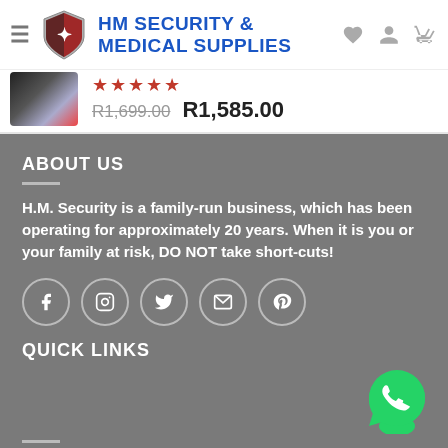HM SECURITY & MEDICAL SUPPLIES
R1,699.00  R1,585.00
ABOUT US
H.M. Security is a family-run business, which has been operating for approximately 20 years. When it is you or your family at risk, DO NOT take short-cuts!
[Figure (illustration): Social media icons: Facebook, Instagram, Twitter, Email, Pinterest]
QUICK LINKS
[Figure (logo): WhatsApp green logo button]